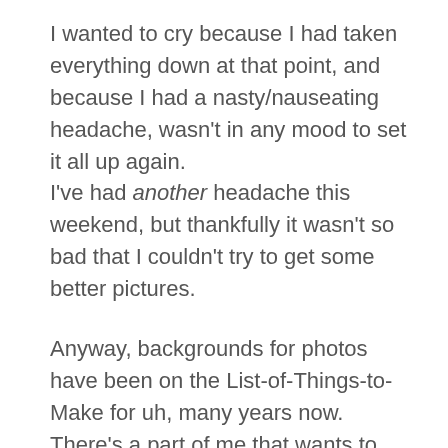I wanted to cry because I had taken everything down at that point, and because I had a nasty/nauseating headache, wasn't in any mood to set it all up again.
I've had another headache this weekend, but thankfully it wasn't so bad that I couldn't try to get some better pictures.
Anyway, backgrounds for photos have been on the List-of-Things-to-Make for uh, many years now. There's a part of me that wants to start photo showing, (maybe in ten more years I'll actually make that happen) and my plain white backdrop won't really work for that.
For an indoor arena, I wanted to go with something simple. Basically, the background is a piece of white fo...